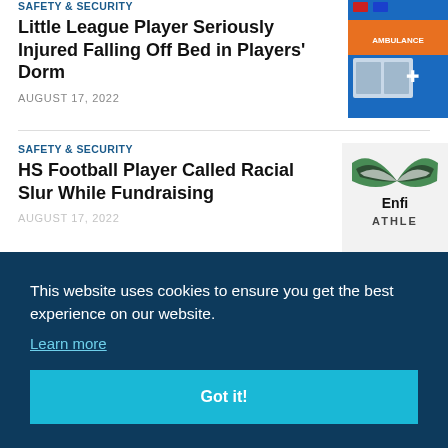SAFETY & SECURITY
Little League Player Seriously Injured Falling Off Bed in Players' Dorm
AUGUST 17, 2022
[Figure (photo): Photo of an ambulance with orange and blue livery]
SAFETY & SECURITY
HS Football Player Called Racial Slur While Fundraising
AUGUST 17, 2022
[Figure (logo): Enfield Athletics logo with green and white wing design]
This website uses cookies to ensure you get the best experience on our website.
Learn more
Got it!